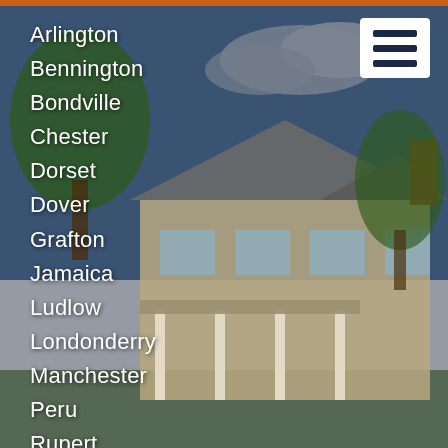[Figure (photo): Background photo of a large New England style house with beige siding, covered porch with white columns, trees, and blue sky with clouds]
Arlington
Bennington
Bondville
Chester
Dorset
Dover
Grafton
Jamaica
Ludlow
Londonderry
Manchester
Peru
Rupert
Shaftsbury